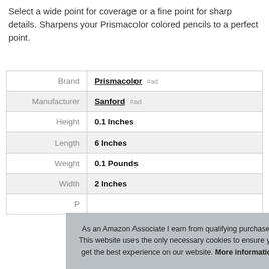Select a wide point for coverage or a fine point for sharp details. Sharpens your Prismacolor colored pencils to a perfect point.
| Label | Value |
| --- | --- |
| Brand | Prismacolor #ad |
| Manufacturer | Sanford #ad |
| Height | 0.1 Inches |
| Length | 6 Inches |
| Weight | 0.1 Pounds |
| Width | 2 Inches |
| P... |  |
As an Amazon Associate I earn from qualifying purchases. This website uses the only necessary cookies to ensure you get the best experience on our website. More information